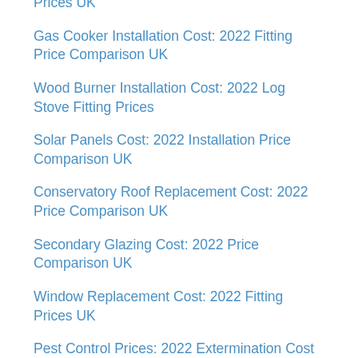Prices UK
Gas Cooker Installation Cost: 2022 Fitting Price Comparison UK
Wood Burner Installation Cost: 2022 Log Stove Fitting Prices
Solar Panels Cost: 2022 Installation Price Comparison UK
Conservatory Roof Replacement Cost: 2022 Price Comparison UK
Secondary Glazing Cost: 2022 Price Comparison UK
Window Replacement Cost: 2022 Fitting Prices UK
Pest Control Prices: 2022 Extermination Cost Comparison UK
Window Shutters Cost: 2022 Blinds Installation